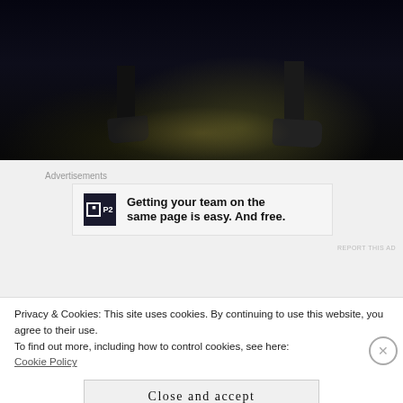[Figure (photo): Dark photograph showing feet/legs in dark clothing and shoes, standing on a dark floor with a faint yellowish ground reflection]
Advertisements
[Figure (other): Advertisement banner: P2 logo (square icon with 'P' and 'P2') with bold text 'Getting your team on the same page is easy. And free.']
REPORT THIS AD
[Figure (other): Blurred/pixelated content strip]
Privacy & Cookies: This site uses cookies. By continuing to use this website, you agree to their use.
To find out more, including how to control cookies, see here:
Cookie Policy
Close and accept